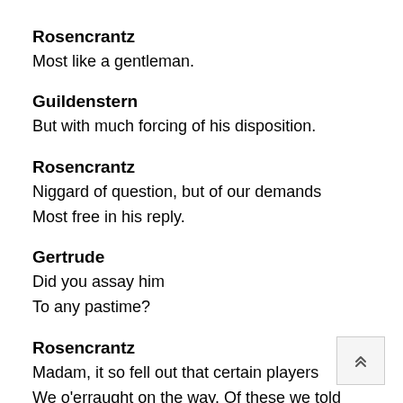Rosencrantz
Most like a gentleman.
Guildenstern
But with much forcing of his disposition.
Rosencrantz
Niggard of question, but of our demands
Most free in his reply.
Gertrude
Did you assay him
To any pastime?
Rosencrantz
Madam, it so fell out that certain players
We o'erraught on the way. Of these we told him,